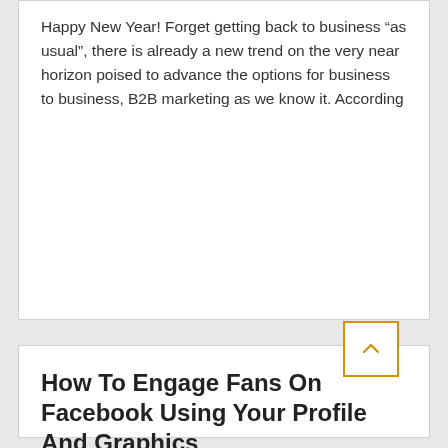Happy New Year! Forget getting back to business “as usual”, there is already a new trend on the very near horizon poised to advance the options for business to business, B2B marketing as we know it. According
How To Engage Fans On Facebook Using Your Profile And Graphics
In Creative Design, Social Media
With more than 1.5 million local businesses having Facebook Fan pages, according to recent statistics from www.digitialbuzzblog.com, it’s becoming increasingly important that each page stand out to their target market so they can become a “Liked”